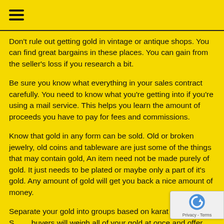≡
Don't rule out getting gold in vintage or antique shops. You can find great bargains in these places. You can gain from the seller's loss if you research a bit.
Be sure you know what everything in your sales contract carefully. You need to know what you're getting into if you're using a mail service. This helps you learn the amount of proceeds you have to pay for fees and commissions.
Know that gold in any form can be sold. Old or broken jewelry, old coins and tableware are just some of the things that may contain gold, An item need not be made purely of gold. It just needs to be plated or maybe only a part of it's gold. Any amount of gold will get you back a nice amount of money.
Separate your gold into groups based on karat weight. Some buyers will weigh all of your gold at once and offer you for the lowest karat. This will cheat you money.